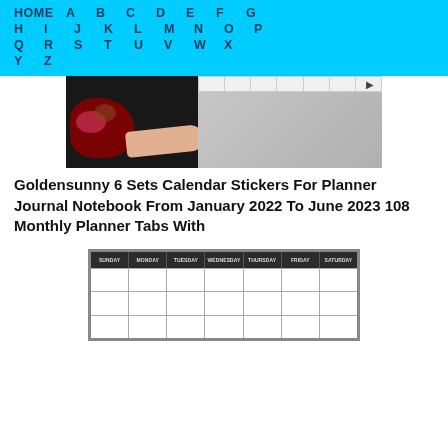HOME  A  B  C  D  E  F  G  H  I  J  K  L  M  N  O  P  Q  R  S  T  U  V  W  X  Y  Z
[Figure (photo): Product photo showing a person in a floral top holding a gray notebook/planner with a calendar strip visible at top]
Goldensunny 6 Sets Calendar Stickers For Planner Journal Notebook From January 2022 To June 2023 108 Monthly Planner Tabs With
[Figure (photo): Image of a weekly calendar/planner grid with days of the week header row (Sunday through Saturday) and empty calendar cells below]